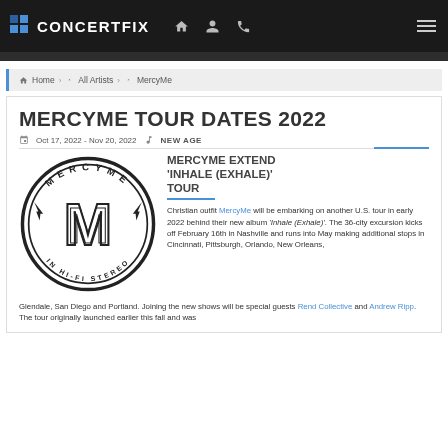CONCERTFIX
Home › All Artists › MercyMe
MERCYME TOUR DATES 2022
Oct 17, 2022 - Nov 20, 2022   NEW AGE
[Figure (logo): MercyMe circular logo with text 'MERCYME IN HI-FI STEREO' and large M monogram]
MERCYME EXTEND 'INHALE (EXHALE)' TOUR
Christian outfit MercyMe will be embarking on another U.S. tour in early 2022 behind their new album 'Inhale (Exhale)'. The 36-city excursion kicks off February 16th in Nashville and runs into May making additional stops in Cincinnati, Pittsburgh, Orlando, New Orleans, Glendale, San Diego and Portland. Joining the new shows will be special guests Rend Collective and Andrew Ripp. The tour originally launched earlier this fall and was